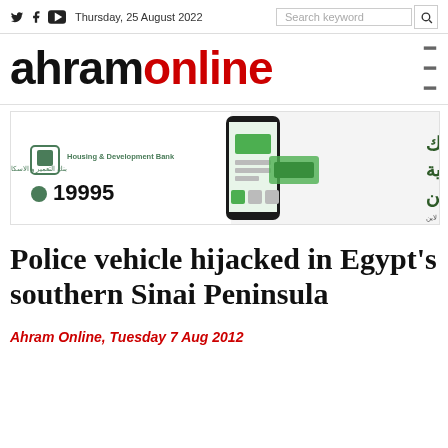Thursday, 25 August 2022  Search keyword
[Figure (logo): Ahram Online logo with social media icons (Twitter, Facebook, YouTube) and hamburger menu]
[Figure (infographic): Housing & Development Bank advertisement in Arabic and English showing a smartphone and the text 19995 and Arabic text for online banking]
Police vehicle hijacked in Egypt's southern Sinai Peninsula
Ahram Online, Tuesday 7 Aug 2012